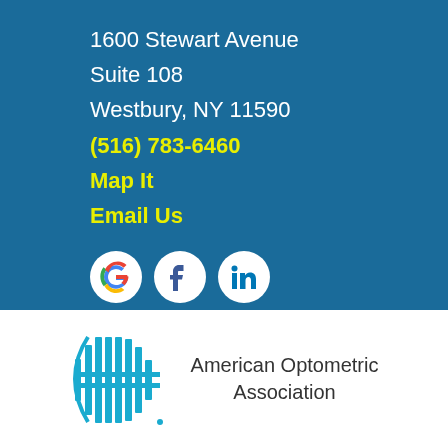1600 Stewart Avenue
Suite 108
Westbury, NY 11590
(516) 783-6460
Map It
Email Us
[Figure (other): Social media icons: Google, Facebook, LinkedIn]
[Figure (logo): American Optometric Association logo with teal eye/bars graphic and text 'American Optometric Association']